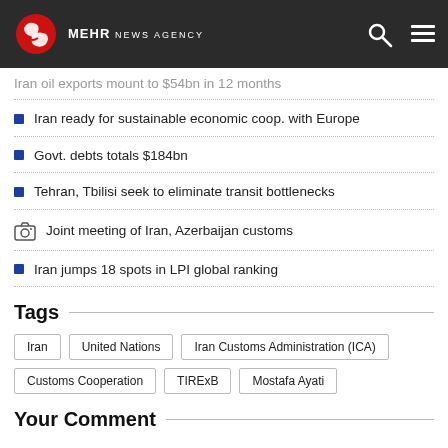MEHR NEWS AGENCY
Iran oil exports mount to $54bn in 12 months
Iran ready for sustainable economic coop. with Europe
Govt. debts totals $184bn
Tehran, Tbilisi seek to eliminate transit bottlenecks
Joint meeting of Iran, Azerbaijan customs
Iran jumps 18 spots in LPI global ranking
Tags
Iran | United Nations | Iran Customs Administration (ICA) | Customs Cooperation | TIRExB | Mostafa Ayati
Your Comment